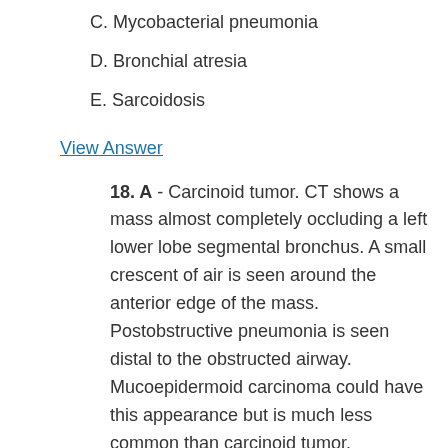C. Mycobacterial pneumonia
D. Bronchial atresia
E. Sarcoidosis
View Answer
18. A - Carcinoid tumor. CT shows a mass almost completely occluding a left lower lobe segmental bronchus. A small crescent of air is seen around the anterior edge of the mass. Postobstructive pneumonia is seen distal to the obstructed airway. Mucoepidermoid carcinoma could have this appearance but is much less common than carcinoid tumor. Obstructing endobronchial masses are not common features of mycobacterial pneumonia or sarcoidosis. The tubular opacity in the left